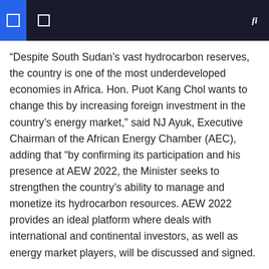“Despite South Sudan’s vast hydrocarbon reserves, the country is one of the most underdeveloped economies in Africa. Hon. Puot Kang Chol wants to change this by increasing foreign investment in the country’s energy market,” said NJ Ayuk, Executive Chairman of the African Energy Chamber (AEC), adding that “by confirming its participation and his presence at AEW 2022, the Minister seeks to strengthen the country’s ability to manage and monetize its hydrocarbon resources. AEW 2022 provides an ideal platform where deals with international and continental investors, as well as energy market players, will be discussed and signed.
By replicating some of the best practices and regulatory frameworks that major hydrocarbon producing countries such as Nigeria, Angola, Niger and members of the The